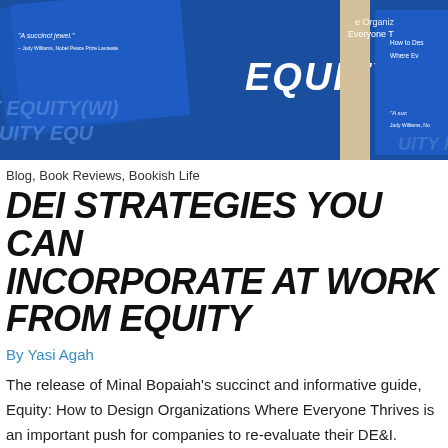[Figure (photo): Banner image showing multiple copies of the book 'Equity: How to Design Organizations Where Everyone Thrives' with blue covers, the word EQUITY prominently displayed, and a quote 'A succinct jewel.' by Jody Williams, Nobel Peace Prize Laureate]
Blog, Book Reviews, Bookish Life
DEI STRATEGIES YOU CAN INCORPORATE AT WORK FROM EQUITY
By Yasi Agah
The release of Minal Bopaiah's succinct and informative guide, Equity: How to Design Organizations Where Everyone Thrives is an important push for companies to re-evaluate their DE&I. Bopaiah seamlessly discusses DE&I, or IDEA as she refers to it (inclusion, diversity, equity and accessibility) strategies if organizations want to integrate equity in their work culture. ...